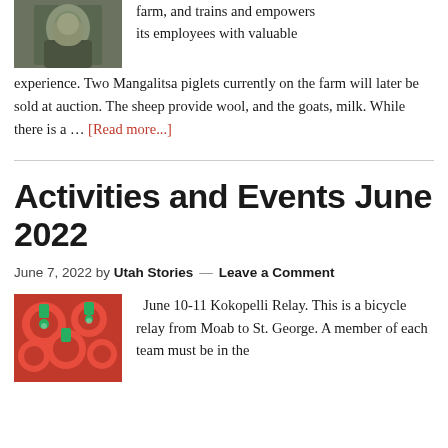[Figure (photo): Photo of a person (man) cropped at top of page]
farm, and trains and empowers its employees with valuable experience. Two Mangalitsa piglets currently on the farm will later be sold at auction. The sheep provide wool, and the goats, milk. While there is a … [Read more...]
Activities and Events June 2022
June 7, 2022 by Utah Stories — Leave a Comment
[Figure (photo): Close-up photo of red strawberries]
June 10-11 Kokopelli Relay. This is a bicycle relay from Moab to St. George. A member of each team must be in the